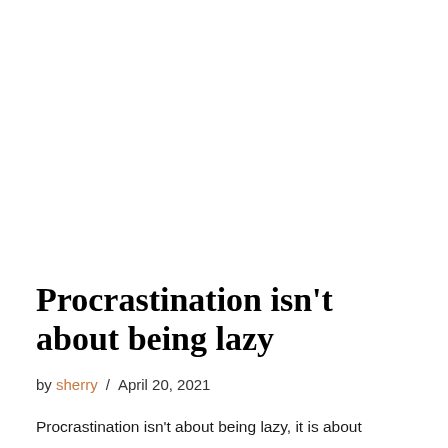Procrastination isn't about being lazy
by sherry / April 20, 2021
Procrastination isn't about being lazy, it is about